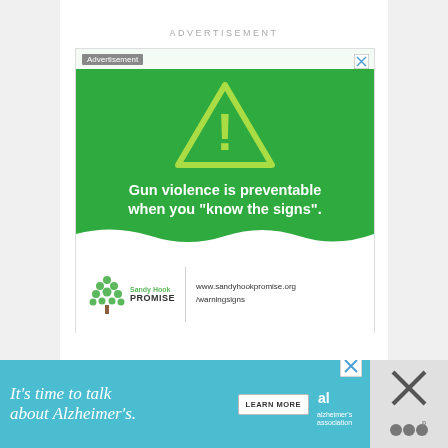ADVERTISEMENT
[Figure (infographic): Sandy Hook Promise advertisement on green background with yellow warning triangle/exclamation mark. Text reads: 'Gun violence is preventable when you "know the signs".' Logo shows Sandy Hook Promise with tree icon. URL: www.sandyhookpromise.org/warningsigns]
[Figure (infographic): Alzheimer's Association advertisement: 'It's time to talk about Alzheimer's.' with a LEARN MORE button, Alzheimer's Association logo, and close buttons on teal background.]